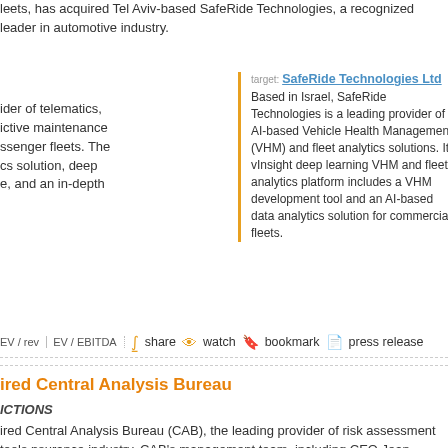leets, has acquired Tel Aviv-based SafeRide Technologies, a recognized leader in automotive industry.
ider of telematics, ictive maintenance ssenger fleets. The cs solution, deep e, and an in-depth
target: SafeRide Technologies Ltd
Based in Israel, SafeRide Technologies is a leading provider of AI-based Vehicle Health Management (VHM) and fleet analytics solutions. Its vInsight deep learning VHM and fleet analytics platform includes a VHM development tool and an AI-based data analytics solution for commercial fleets.
EV / rev  EV / EBITDA  share  watch  bookmark  press release
ired Central Analysis Bureau
ICTIONS
ired Central Analysis Bureau (CAB), the leading provider of risk assessment tools nsurance industry. CAB's management team, including CEO Jean Gardner, COO ice President Chad Krueger, will continue to lead the company to ensure
B data provider in the including trucking, lect other markets.
target: Central Analysis Bureau
Central Analysis Bureau develops a proprietary system for rating, tracking and analyzing motor carrier's financial and safety strength. The system and team of legal experts, financial analysts, data gurus, statisticians